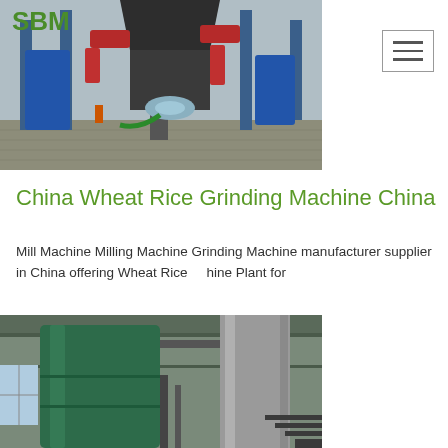[Figure (photo): Industrial grinding machine facility photo showing large red and blue industrial equipment, crane or mill components, with SBM logo visible in green text overlay at top left]
[Figure (photo): Interior photo of industrial facility showing large green cylindrical tanks/silos and metal pipe structures inside a building]
China Wheat Rice Grinding Machine China
Mill Machine Milling Machine Grinding Machine manufacturer supplier in China offering Wheat Rice ... hine Plant for